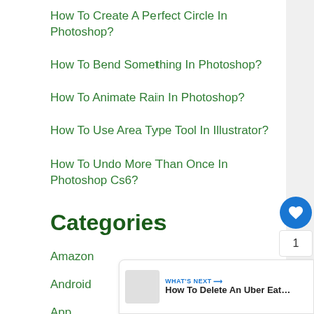How To Create A Perfect Circle In Photoshop?
How To Bend Something In Photoshop?
How To Animate Rain In Photoshop?
How To Use Area Type Tool In Illustrator?
How To Undo More Than Once In Photoshop Cs6?
Categories
Amazon
Android
App
Car